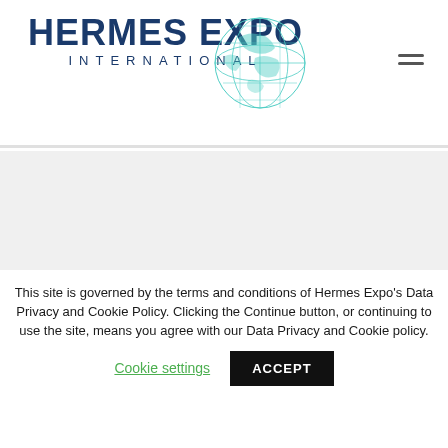[Figure (logo): Hermes Expo International logo with globe graphic and hamburger menu icon]
FROM OUR GALLERY
[Figure (illustration): Gallery placeholder area with four circular image placeholders arranged horizontally]
This site is governed by the terms and conditions of Hermes Expo's Data Privacy and Cookie Policy. Clicking the Continue button, or continuing to use the site, means you agree with our Data Privacy and Cookie policy.
Cookie settings    ACCEPT